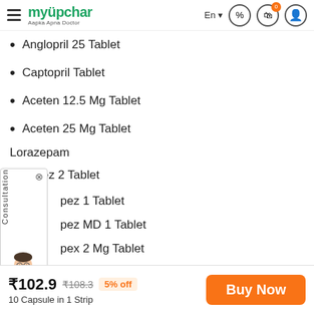myUpchar – Aapka Apna Doctor | En | Cart 0 | Profile
Anglopril 25 Tablet
Captopril Tablet
Aceten 12.5 Mg Tablet
Aceten 25 Mg Tablet
Lorazepam
Lopez 2 Tablet
Lopez 1 Tablet
Lopez MD 1 Tablet
Lopex 2 Mg Tablet
erate
azocine
Dolowin Old Tablet
₹102.9  ₹108.3  5% off  10 Capsule in 1 Strip  Buy Now